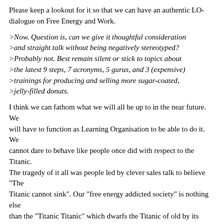Please keep a lookout for it so that we can have an authentic LO-dialogue on Free Energy and Work.
>Now. Question is, can we give it thoughtful consideration >and straight talk without being negatively stereotyped? >Probably not. Best remain silent or stick to topics about >the latest 9 steps, 7 acronyms, 5 gurus, and 3 (expensive) >trainings for producing and selling more sugar-coated, >jelly-filled donuts.
I think we can fathom what we will all be up to in the near future. We will have to function as Learning Organisation to be able to do it. We cannot dare to behave like people once did with respect to the Titanic. The tragedy of it all was people led by clever sales talk to believe "The Titanic cannot sink". Our "free energy addicted society" is nothing else than the "Titanic Titanic" which dwarfs the Titanic of old by its sheer complexity.
I do not want to bring "angst" into your hearts. I rather want to encourage you to learn (train ?) what to do with clear